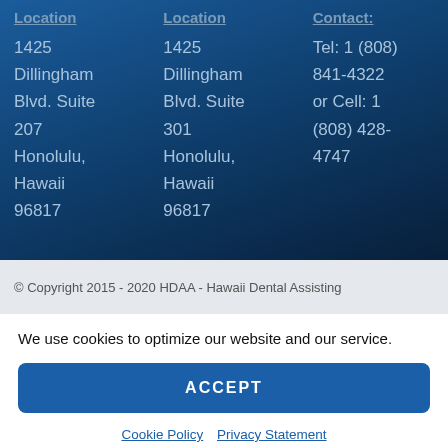| Location | Location | Contact: |
| --- | --- | --- |
| 1425 Dillingham Blvd. Suite 207 Honolulu, Hawaii 96817 | 1425 Dillingham Blvd. Suite 301 Honolulu, Hawaii 96817 | Tel: 1 (808) 841-4322 or Cell: 1 (808) 428-4747 |
© Copyright 2015 - 2020 HDAA - Hawaii Dental Assisting
We use cookies to optimize our website and our service.
ACCEPT
Cookie Policy   Privacy Statement